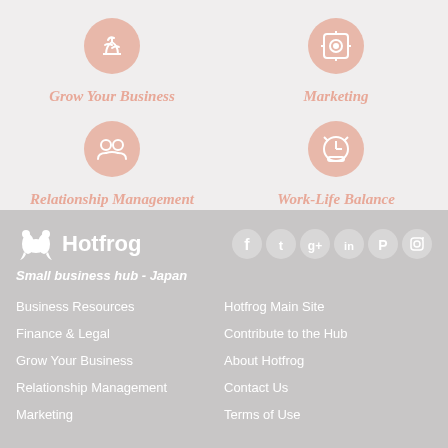[Figure (illustration): Icon for Grow Your Business category - circular salmon/pink icon with plant/growth symbol]
Grow Your Business
[Figure (illustration): Icon for Marketing category - circular salmon/pink icon with @ or target symbol]
Marketing
[Figure (illustration): Icon for Relationship Management category - circular salmon/pink icon with people/network symbol]
Relationship Management
[Figure (illustration): Icon for Work-Life Balance category - circular salmon/pink icon with clock/balance symbol]
Work-Life Balance
[Figure (logo): Hotfrog logo - white frog icon with Hotfrog text]
Small business hub - Japan
[Figure (illustration): Social media icons: Facebook, Twitter, Google+, LinkedIn, Pinterest, Instagram]
Business Resources
Hotfrog Main Site
Finance & Legal
Contribute to the Hub
Grow Your Business
About Hotfrog
Relationship Management
Contact Us
Marketing
Terms of Use